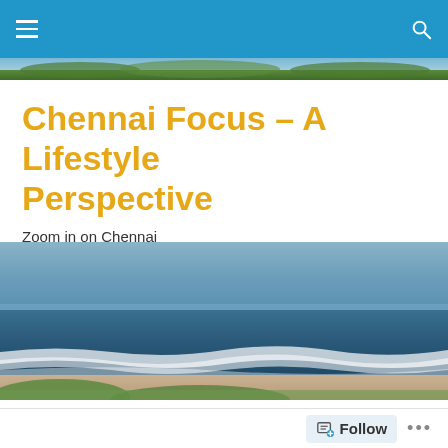[Figure (photo): Thin scenic outdoor/nature photo strip used as website header background]
Chennai Focus – A Lifestyle Perspective
Zoom in on Chennai
[Figure (photo): Wide beach scene photo showing ocean waves, blue sky, and sandy shore]
Kokkarakko – A must try place for Veg and Non-Veg lovers
Follow